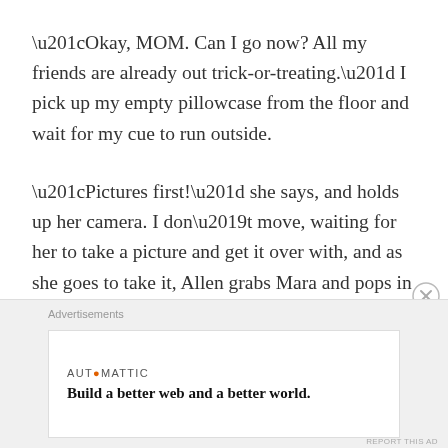“Okay, MOM. Can I go now? All my friends are already out trick-or-treating.” I pick up my empty pillowcase from the floor and wait for my cue to run outside.
“Pictures first!” she says, and holds up her camera. I don’t move, waiting for her to take a picture and get it over with, and as she goes to take it, Allen grabs Mara and pops in the picture beside me. The flash goes off and I see spots. Mom laughs, and says she can’t wait to
Advertisements
AUT◎MATTIC
Build a better web and a better world.